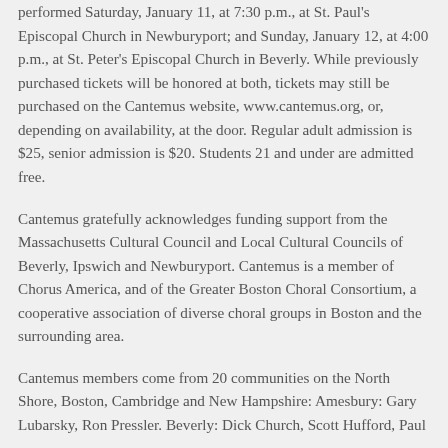performed Saturday, January 11, at 7:30 p.m., at St. Paul's Episcopal Church in Newburyport; and Sunday, January 12, at 4:00 p.m., at St. Peter's Episcopal Church in Beverly. While previously purchased tickets will be honored at both, tickets may still be purchased on the Cantemus website, www.cantemus.org, or, depending on availability, at the door. Regular adult admission is $25, senior admission is $20. Students 21 and under are admitted free.
Cantemus gratefully acknowledges funding support from the Massachusetts Cultural Council and Local Cultural Councils of Beverly, Ipswich and Newburyport. Cantemus is a member of Chorus America, and of the Greater Boston Choral Consortium, a cooperative association of diverse choral groups in Boston and the surrounding area.
Cantemus members come from 20 communities on the North Shore, Boston, Cambridge and New Hampshire: Amesbury: Gary Lubarsky, Ron Pressler. Beverly: Dick Church, Scott Hufford, Paul